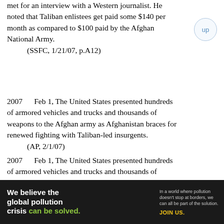met for an interview with a Western journalist. He noted that Taliban enlistees get paid some $140 per month as compared to $100 paid by the Afghan National Army.
    (SSFC, 1/21/07, p.A12)
2007    Feb 1, The United States presented hundreds of armored vehicles and trucks and thousands of weapons to the Afghan army as Afghanistan braces for renewed fighting with Taliban-led insurgents.
    (AP, 2/1/07)
2007    Feb 1, The United States presented hundreds of armored vehicles and trucks and thousands of weapons to the Afghan army as Afghanistan braces for renewed fighting with Taliban-led insurgents. In southern Afghanistan Taliban militants overran Musa Qala, where a contentious peace agreement was negotiated last fall, roaming through the town center, burning its government compound and threatening elders. In eastern Paktika province coalition aircraft
[Figure (infographic): Pure Earth advertisement banner: 'We believe the global pollution crisis can be solved.' with tagline 'In a world where pollution doesn't stop at borders, we can all be part of the solution. JOIN US.' and Pure Earth logo on right.]